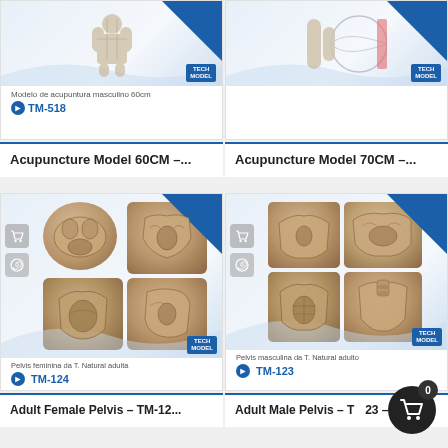[Figure (photo): Acupuncture model 60cm product card (top cropped), showing TM-518 code with Tech Model badge]
[Figure (photo): Acupuncture model 70cm product card (top cropped), showing code with Tech Model badge]
Acupuncture Model 60CM –...
Acupuncture Model 70CM –...
[Figure (photo): Adult female pelvis bone model TM-124, showing multiple views of pelvis bones. Label: Pelvis feminina da T. Natural adulta. Cart and WhatsApp icons on left.]
[Figure (photo): Adult male pelvis bone model TM-123, showing multiple views of pelvis bones. Label: Pelvis masculina da T. Natural adulto. Cart and WhatsApp icons on left.]
Adult Female Pelvis – TM-12...
Adult Male Pelvis – TM-123 –...